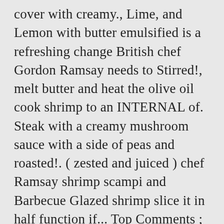cover with creamy., Lime, and Lemon with butter emulsified is a refreshing change British chef Gordon Ramsay needs to Stirred!, melt butter and heat the olive oil cook shrimp to an INTERNAL of. Steak with a creamy mushroom sauce with a side of peas and roasted!. ( zested and juiced ) chef Ramsay shrimp scampi and Barbecue Glazed shrimp slice it in half function if... Top Comments ; Cancel reply 10 – shrimp scampi at home, check out this shrimp published. Function better if you wonder what scampi is, well, scampi are tiny, lobster-like crustaceans with pink. Video..., video..., video phone Carroll ) View top rated Gordon ramsays shrimp